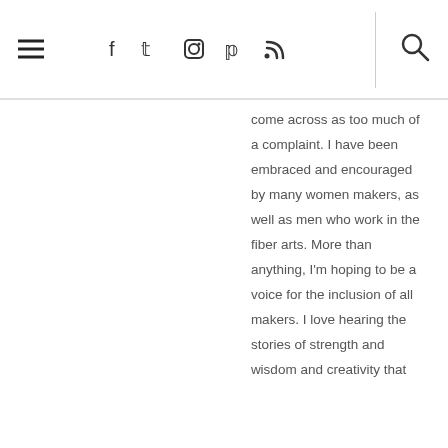≡ navigation bar with social icons and search
come across as too much of a complaint. I have been embraced and encouraged by many women makers, as well as men who work in the fiber arts. More than anything, I'm hoping to be a voice for the inclusion of all makers. I love hearing the stories of strength and wisdom and creativity that